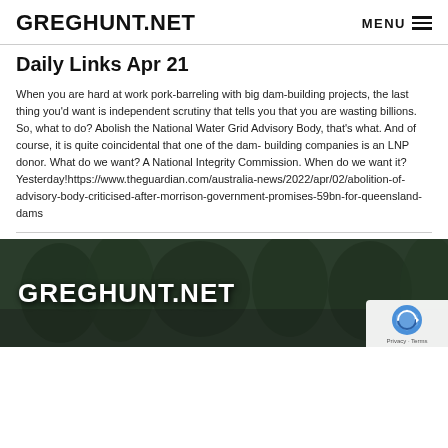GREGHUNT.NET
Daily Links Apr 21
When you are hard at work pork-barreling with big dam-building projects, the last thing you'd want is independent scrutiny that tells you that you are wasting billions. So, what to do? Abolish the National Water Grid Advisory Body, that's what. And of course, it is quite coincidental that one of the dam- building companies is an LNP donor. What do we want? A National Integrity Commission. When do we want it? Yesterday!https://www.theguardian.com/australia-news/2022/apr/02/abolition-of-advisory-body-criticised-after-morrison-government-promises-59bn-for-queensland-dams
[Figure (photo): GREGHUNT.NET website banner image showing the site logo in white bold text over a dark nature/tree background, with a reCAPTCHA badge in the bottom right corner.]